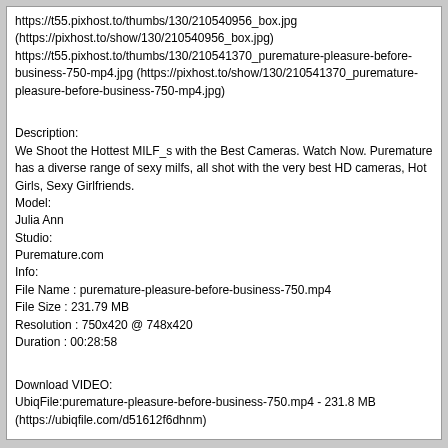https://t55.pixhost.to/thumbs/130/210540956_box.jpg (https://pixhost.to/show/130/210540956_box.jpg) https://t55.pixhost.to/thumbs/130/210541370_puremature-pleasure-before-business-750-mp4.jpg (https://pixhost.to/show/130/210541370_puremature-pleasure-before-business-750-mp4.jpg)

Description:
We Shoot the Hottest MILF_s with the Best Cameras. Watch Now. Puremature has a diverse range of sexy milfs, all shot with the very best HD cameras, Hot Girls, Sexy Girlfriends.
Model:
Julia Ann
Studio:
Puremature.com
Info:
File Name : puremature-pleasure-before-business-750.mp4
File Size : 231.79 MB
Resolution : 750x420 @ 748x420
Duration : 00:28:58

Download VIDEO:
UbiqFile:puremature-pleasure-before-business-750.mp4 - 231.8 MB (https://ubiqfile.com/d51612f6dhnm)
lipois  05-28-2021, 06:26 PM
Puremature.com- Simply Delicious
https://t55.pixhost.to/thumbs/131/210573084_box.jpg (https://pixhost.to/show/131/210573084_box.jpg)
https://t55.pixhost.to/thumbs/131/210573954_puremature-simply-delicious-750-mp4.jpg (https://pixhost.to/show/131/210573954_puremature-simply-delicious-750-mp4.jpg)

Description:
We Shoot the Hottest MILF_s with the Best Cameras. Watch Now. Puremature has a diverse range of sexy milfs, all shot with the very best HD cameras, Hot